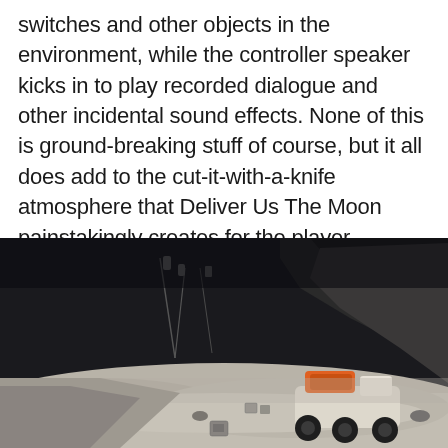switches and other objects in the environment, while the controller speaker kicks in to play recorded dialogue and other incidental sound effects. None of this is ground-breaking stuff of course, but it all does add to the cut-it-with-a-knife atmosphere that Deliver Us The Moon painstakingly creates for the player.
[Figure (photo): A cinematic screenshot from the video game 'Deliver Us The Moon' showing a desolate lunar surface with grey rocky terrain, two orange-accented rovers/vehicles, scattered equipment boxes, and large industrial structures in the background against a dark sky. The scene is rendered in a realistic, moody style with grey and beige tones.]